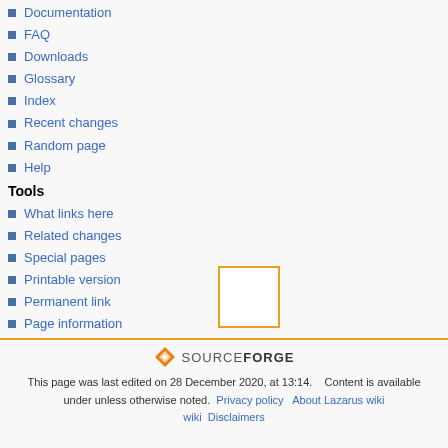Documentation
FAQ
Downloads
Glossary
Index
Recent changes
Random page
Help
Tools
What links here
Related changes
Special pages
Printable version
Permanent link
Page information
[Figure (logo): SourceForge logo with orange diamond icon and SOURCEFORGE text]
This page was last edited on 28 December 2020, at 13:14.   Content is available under unless otherwise noted.  Privacy policy  About Lazarus wiki  Disclaimers